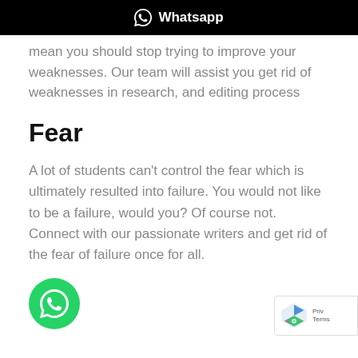Whatsapp
mean you should stop trying to improve your weaknesses. Our team will assist you get rid of weaknesses in research, and editing process
Fear
A lot of students can't control the fear which is ultimately resulted into failure. You would not like to be a failure, would you? Of course not. Connect with our passionate writers and get rid of the fear of failure once for all.
[Figure (logo): Green WhatsApp floating action button icon at bottom left]
[Figure (logo): reCAPTCHA badge at bottom right with Privacy Terms text]